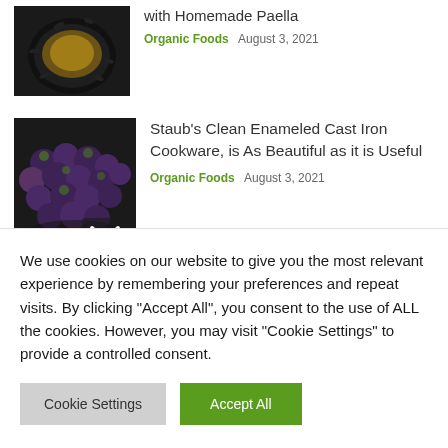[Figure (photo): Top-down view of a dark bowl with paella dish, partially visible at top of page]
with Homemade Paella
Organic Foods  August 3, 2021
[Figure (photo): Dark pan filled with small purple and green vegetables (eggplant/olives), with a white chevron arrow overlay]
Staub's Clean Enameled Cast Iron Cookware, is As Beautiful as it is Useful
Organic Foods  August 3, 2021
Featured Videos
We use cookies on our website to give you the most relevant experience by remembering your preferences and repeat visits. By clicking "Accept All", you consent to the use of ALL the cookies. However, you may visit "Cookie Settings" to provide a controlled consent.